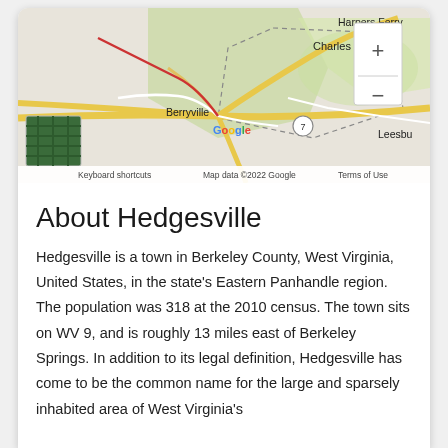[Figure (map): Google Maps screenshot showing the area around Hedgesville, West Virginia, including Harpers Ferry, Charles Town, Berryville, and Leesburg. Shows roads, terrain, zoom controls (+/-), a satellite image thumbnail, keyboard shortcuts, map data credit, and terms of use.]
About Hedgesville
Hedgesville is a town in Berkeley County, West Virginia, United States, in the state's Eastern Panhandle region. The population was 318 at the 2010 census. The town sits on WV 9, and is roughly 13 miles east of Berkeley Springs. In addition to its legal definition, Hedgesville has come to be the common name for the large and sparsely inhabited area of West Virginia's